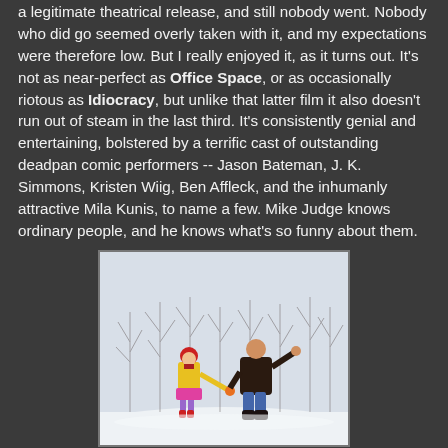a legitimate theatrical release, and still nobody went. Nobody who did go seemed overly taken with it, and my expectations were therefore low. But I really enjoyed it, as it turns out. It's not as near-perfect as Office Space, or as occasionally riotous as Idiocracy, but unlike that latter film it also doesn't run out of steam in the last third. It's consistently genial and entertaining, bolstered by a terrific cast of outstanding deadpan comic performers -- Jason Bateman, J. K. Simmons, Kristen Wiig, Ben Affleck, and the inhumanly attractive Mila Kunis, to name a few. Mike Judge knows ordinary people, and he knows what's so funny about them.
[Figure (photo): A man and a young girl playing in the snow outdoors. The girl wears a yellow coat, red hat, pink skirt, and red boots. The man wears a dark jacket and jeans. Bare winter trees are visible in the background.]
The Children (d. Tommy Shankland) - This horror film was primarily striking to me because it plunks a family down as